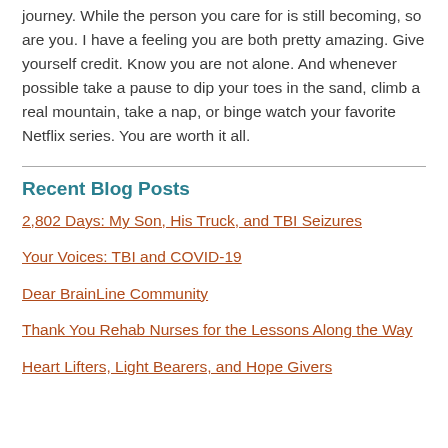journey. While the person you care for is still becoming, so are you. I have a feeling you are both pretty amazing. Give yourself credit. Know you are not alone. And whenever possible take a pause to dip your toes in the sand, climb a real mountain, take a nap, or binge watch your favorite Netflix series. You are worth it all.
Recent Blog Posts
2,802 Days: My Son, His Truck, and TBI Seizures
Your Voices: TBI and COVID-19
Dear BrainLine Community
Thank You Rehab Nurses for the Lessons Along the Way
Heart Lifters, Light Bearers, and Hope Givers